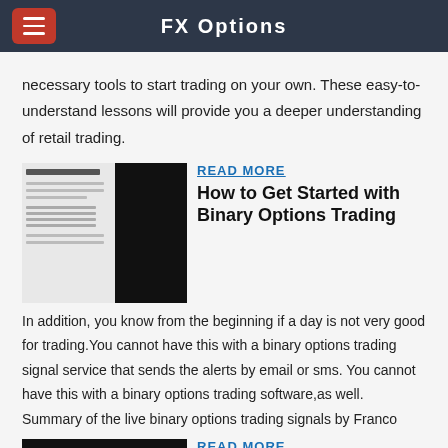FX Options
necessary tools to start trading on your own. These easy-to-understand lessons will provide you a deeper understanding of retail trading.
[Figure (screenshot): Thumbnail image of a binary options trading article with text on left and dark image of person on right]
READ MORE
How to Get Started with Binary Options Trading
In addition, you know from the beginning if a day is not very good for trading.You cannot have this with a binary options trading signal service that sends the alerts by email or sms. You cannot have this with a binary options trading software,as well. Summary of the live binary options trading signals by Franco
[Figure (screenshot): Thumbnail image showing trading chart with number 918 visible]
READ MORE